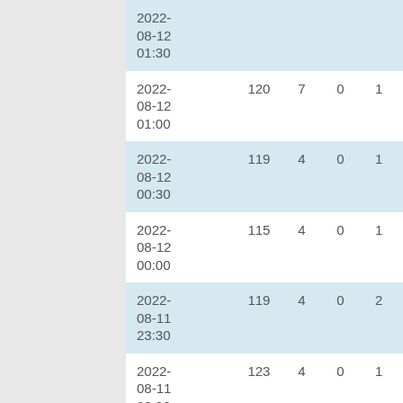| 2022-08-12 01:30 |  |  |  |  |
| 2022-08-12 01:00 | 120 | 7 | 0 | 1 |
| 2022-08-12 00:30 | 119 | 4 | 0 | 1 |
| 2022-08-12 00:00 | 115 | 4 | 0 | 1 |
| 2022-08-11 23:30 | 119 | 4 | 0 | 2 |
| 2022-08-11 23:00 | 123 | 4 | 0 | 1 |